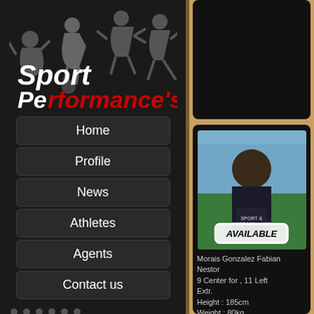[Figure (logo): Sport Performance's logo with silhouettes of athletes playing various sports. Text reads 'Sport Performance's' with 'Pe' in white and 'rformance's' in red.]
Home
Profile
News
Athletes
Agents
Contact us
[Figure (logo): Small footer logo with silhouettes of athletes. Text reads 'Performances' with 'Pe' in white and 'rformances' in red.]
Performance's Models agency
Birth : 1987-06-03
view
[Figure (photo): Photo of athlete Morais Gonzalez Fabian Nestor at a sports field with an AVAILABLE badge overlay.]
Morais Gonzalez Fabian Nestor
9 Center for , 11 Left Extr.
Height : 185cm
Weight : 80kg